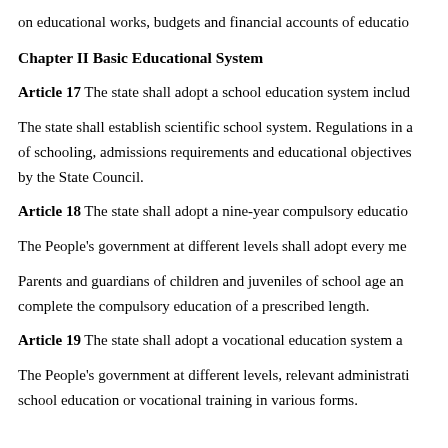on educational works, budgets and financial accounts of educo...
Chapter II Basic Educational System
Article 17 The state shall adopt a school education system includ...
The state shall establish scientific school system. Regulations in ... of schooling, admissions requirements and educational objectives... by the State Council.
Article 18 The state shall adopt a nine-year compulsory educatio...
The People's government at different levels shall adopt every me...
Parents and guardians of children and juveniles of school age an... complete the compulsory education of a prescribed length.
Article 19 The state shall adopt a vocational education system a...
The People's government at different levels, relevant administrati... school education or vocational training in various forms.